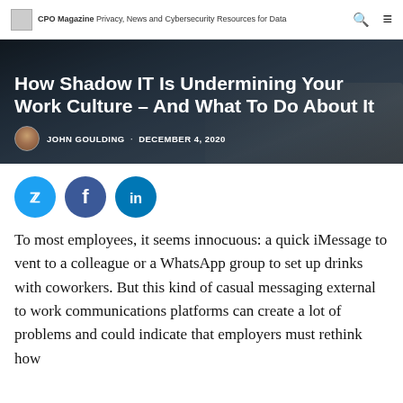CPO Magazine Privacy, News and Cybersecurity Resources for Data
[Figure (photo): Hero banner photo showing hands typing on a laptop keyboard in a dark/moody setting with text overlay]
How Shadow IT Is Undermining Your Work Culture – And What To Do About It
JOHN GOULDING · DECEMBER 4, 2020
[Figure (infographic): Three social media share buttons: Twitter (bird icon), Facebook (f icon), LinkedIn (in icon)]
To most employees, it seems innocuous: a quick iMessage to vent to a colleague or a WhatsApp group to set up drinks with coworkers. But this kind of casual messaging external to work communications platforms can create a lot of problems and could indicate that employers must rethink how